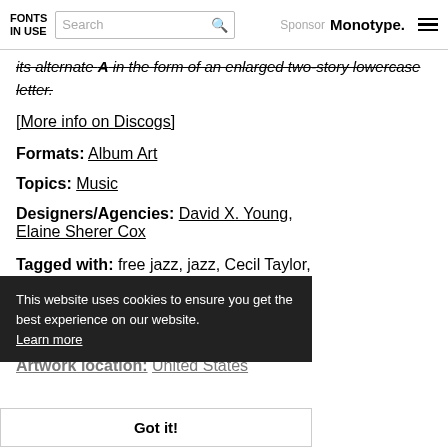FONTS IN USE | Search | Sponsor Monotype.
its alternate A in the form of an enlarged two-story lowercase letter.
[More info on Discogs]
Formats: Album Art
Topics: Music
Designers/Agencies: David X. Young, Elaine Sherer Cox
Tagged with: free jazz, jazz, Cecil Taylor, vinyl records, display type, contoured type, Cecil Taylor Unit
Artwork location: United States